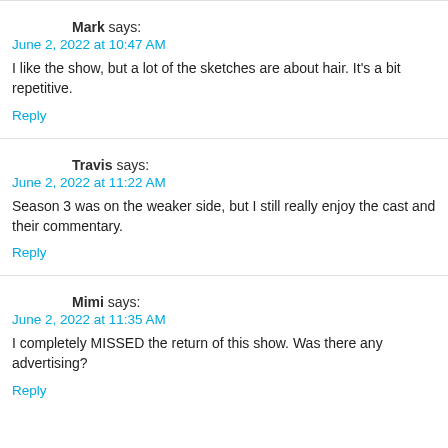Mark says:
June 2, 2022 at 10:47 AM
I like the show, but a lot of the sketches are about hair. It's a bit repetitive.
Reply
Travis says:
June 2, 2022 at 11:22 AM
Season 3 was on the weaker side, but I still really enjoy the cast and their commentary.
Reply
Mimi says:
June 2, 2022 at 11:35 AM
I completely MISSED the return of this show. Was there any advertising?
Reply